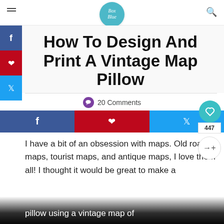Box Blue
How To Design And Print A Vintage Map Pillow
20 Comments
I have a bit of an obsession with maps. Old road maps, tourist maps, and antique maps, I love them all! I thought it would be great to make a